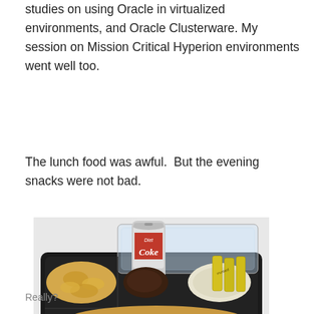studies on using Oracle in virtualized environments, and Oracle Clusterware. My session on Mission Critical Hyperion environments went well too.
The lunch food was awful.  But the evening snacks were not bad.
[Figure (photo): A black plastic meal tray containing a sandwich with chicken and vegetables, chips, a dark condiment, and a creamy salad topped with yellow condiment packets. A Diet Coke can and a clear plastic clamshell lid sit on top.]
Really?